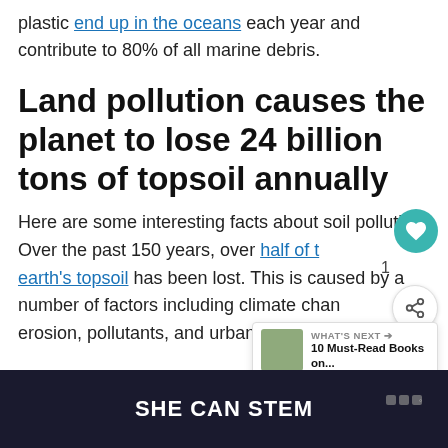plastic end up in the oceans each year and contribute to 80% of all marine debris.
Land pollution causes the planet to lose 24 billion tons of topsoil annually
Here are some interesting facts about soil pollution. Over the past 150 years, over half of the earth's topsoil has been lost. This is caused by a number of factors including climate change, erosion, pollutants, and urbanisation.
SHE CAN STEM